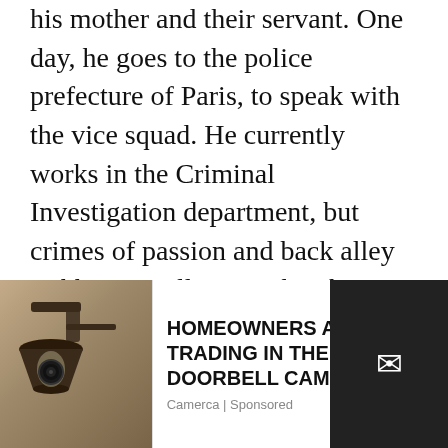his mother and their servant. One day, he goes to the police prefecture of Paris, to speak with the vice squad. He currently works in the Criminal Investigation department, but crimes of passion and back alley stabbings really aren't his thing, so he requests a transfer. The atmosphere immediately darkens, as Louzeau is thrown straight into the interrogation of a pimp called Guapito and his prostitute...
When I was first getting into comics I found it really
[Figure (photo): Advertisement overlay showing a security camera on a wall lamp, with text 'HOMEOWNERS ARE TRADING IN THEIR DOORBELL CAMS...' and source 'Camerca | Sponsored', with a close button X and a dark email icon box on the right]